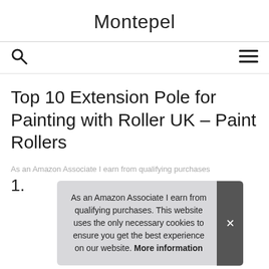Montepel
Top 10 Extension Pole for Painting with Roller UK – Paint Rollers
As an Amazon Associate I earn from qualifying purchases
1.
As an Amazon Associate I earn from qualifying purchases. This website uses the only necessary cookies to ensure you get the best experience on our website. More information